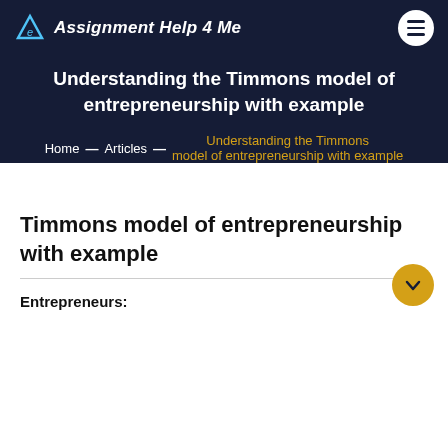Assignment Help 4 Me
Understanding the Timmons model of entrepreneurship with example
Home — Articles — Understanding the Timmons model of entrepreneurship with example
Timmons model of entrepreneurship with example
Entrepreneurs: